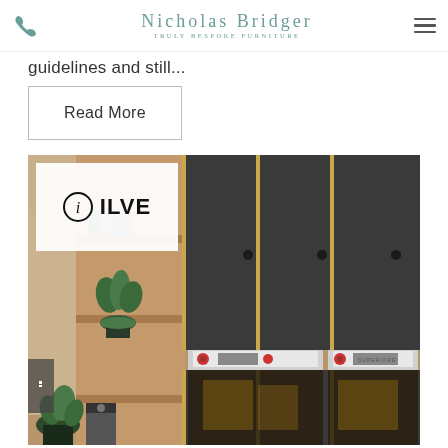Nicholas Bridger — Truly Bespoke Furniture
guidelines and still...
Read More
[Figure (photo): Kitchen interior showing dark matte cabinet panels with brass trim, open wooden shelving with books and a plant, and two ILVE brand ovens with white fronts and red knobs. An ILVE logo overlay (white box with info icon and bold ILVE text) appears in the upper left of the image. A navigation arrow is visible on the left edge.]